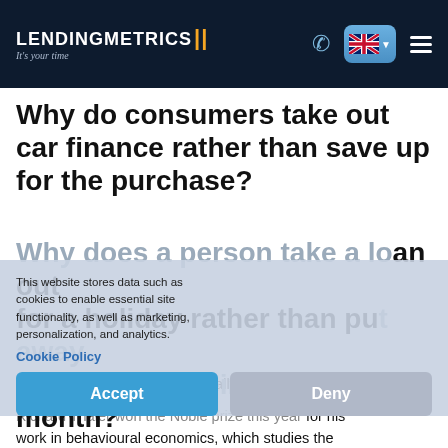LENDINGMETRICS — It's your time
Why do consumers take out car finance rather than save up for the purchase?
Why does a person take a loan out for a holiday rather than put away a portion of their income each month?
This website stores data such as cookies to enable essential site functionality, as well as marketing, personalization, and analytics.
Cookie Policy
Accept
Deny
The answer: people act irrationally with their money.
Richard Thaler won the Noble prize this year for his work in behavioural economics, which studies the